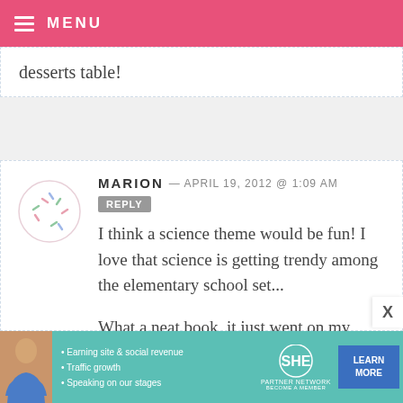MENU
desserts table!
MARION — APRIL 19, 2012 @ 1:09 AM  REPLY
I think a science theme would be fun! I love that science is getting trendy among the elementary school set...
What a neat book, it just went on my amazon wishlist!
[Figure (infographic): SHE Partner Network advertisement banner with woman photo, bullet points about earning site & social revenue, traffic growth, speaking on stages, SHE logo, and LEARN MORE button]